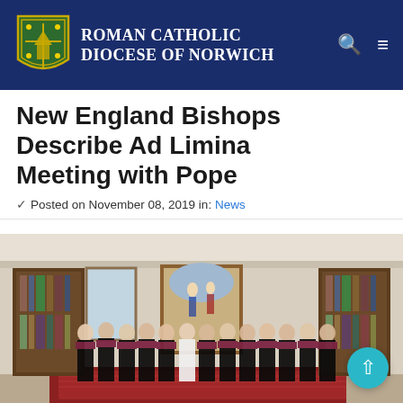Roman Catholic Diocese of Norwich
New England Bishops Describe Ad Limina Meeting with Pope
✓ Posted on November 08, 2019 in: News
[Figure (photo): Group photo of New England Bishops standing with Pope Francis in a formal Vatican room. The bishops are dressed in black cassocks with red accents. A large religious painting hangs on the wall behind them, flanked by wooden bookshelves. The room has an ornate patterned rug.]